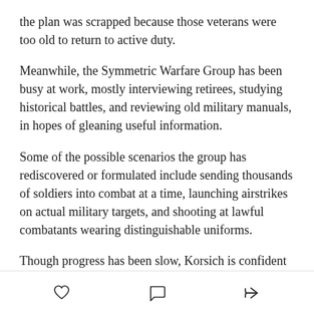the plan was scrapped because those veterans were too old to return to active duty.
Meanwhile, the Symmetric Warfare Group has been busy at work, mostly interviewing retirees, studying historical battles, and reviewing old military manuals, in hopes of gleaning useful information.
Some of the possible scenarios the group has rediscovered or formulated include sending thousands of soldiers into combat at a time, launching airstrikes on actual military targets, and shooting at lawful combatants wearing distinguishable uniforms.
Though progress has been slow, Korsich is confident their lab…will now divide…the tactics…
[heart icon] [comment icon] [share icon]